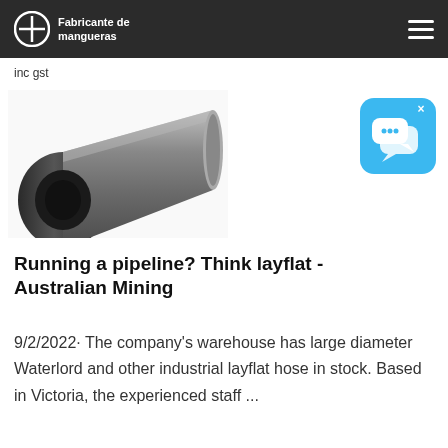Fabricante de mangueras
inc gst
[Figure (photo): Industrial layflat hose, grey cylindrical tube shown at an angle]
[Figure (screenshot): Blue chat/messaging widget icon with speech bubbles and an X close button]
Running a pipeline? Think layflat - Australian Mining
9/2/2022· The company's warehouse has large diameter Waterlord and other industrial layflat hose in stock. Based in Victoria, the experienced staff ...